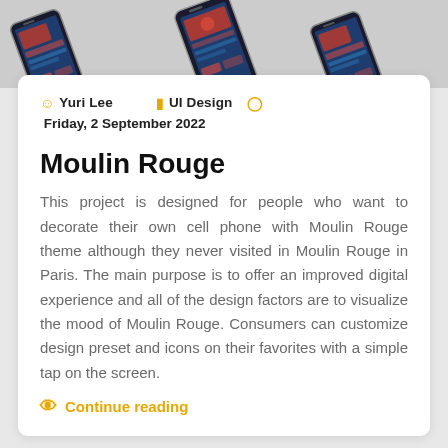[Figure (photo): Phone mockups angled on a light gray background, showing UI screens]
Yuri Lee   UI Design   Friday, 2 September 2022
Moulin Rouge
This project is designed for people who want to decorate their own cell phone with Moulin Rouge theme although they never visited in Moulin Rouge in Paris. The main purpose is to offer an improved digital experience and all of the design factors are to visualize the mood of Moulin Rouge. Consumers can customize design preset and icons on their favorites with a simple tap on the screen.
Continue reading